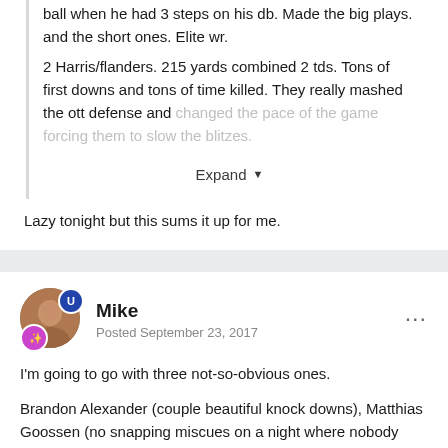ball when he had 3 steps on his db. Made the big plays. and the short ones. Elite wr.
2 Harris/flanders. 215 yards combined 2 tds. Tons of first downs and tons of time killed. They really mashed the ott defense and changed the pace of the game forcing them to slow the blitzes.
Expand
Lazy tonight but this sums it up for me.
Mike
Posted September 23, 2017
I'm going to go with three not-so-obvious ones.
Brandon Alexander (couple beautiful knock downs), Matthias Goossen (no snapping miscues on a night where nobody would blame him if there were several) and Justin Medlock (for realizing that distance on punts wasn't going to be massive tonight and opted to punt the ball in ways that made it a nightmare for McDuffie to handle all night)